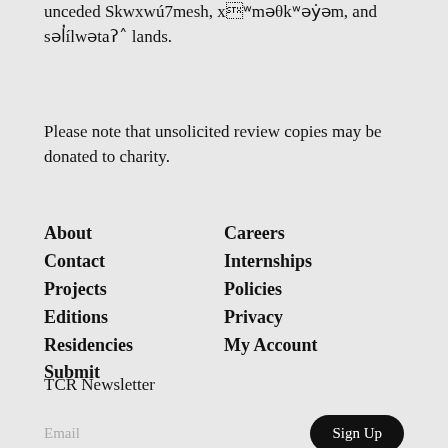unceded Skwxwú7mesh, xʷməθkʷəy̓əm, and səl̓ílwətaʔɬ lands.
Please note that unsolicited review copies may be donated to charity.
About
Contact
Projects
Editions
Residencies
Submit
Careers
Internships
Policies
Privacy
My Account
TCR Newsletter
Email
Sign Up